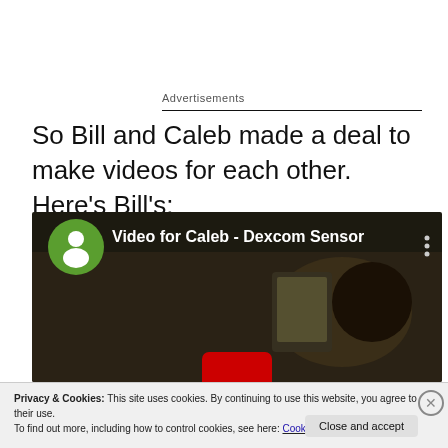Advertisements
So Bill and Caleb made a deal to make videos for each other.  Here's Bill's:
[Figure (screenshot): YouTube video thumbnail showing 'Video for Caleb - Dexcom Sensor' with a green user icon, three-dot menu, and a person lying down holding a device. A red play button is partially visible at the bottom.]
Privacy & Cookies: This site uses cookies. By continuing to use this website, you agree to their use.
To find out more, including how to control cookies, see here: Cookie Policy
Close and accept